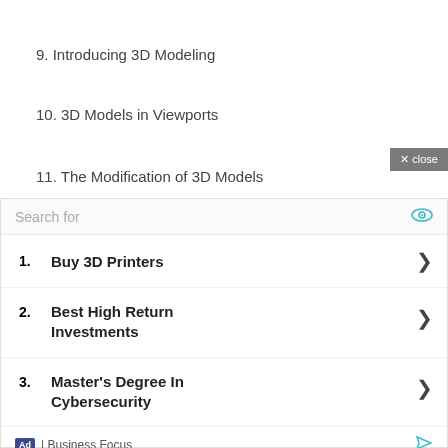9. Introducing 3D Modeling
10. 3D Models in Viewports
11. The Modification of 3D Models
[Figure (screenshot): Advertisement overlay with search bar and 3 sponsored links: 1. Buy 3D Printers, 2. Best High Return Investments, 3. Master's Degree In Cybersecurity. Footer shows Ad badge and Business Focus label.]